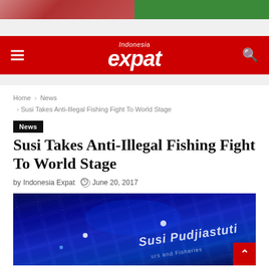[Figure (photo): Top banner image with two halves: left reddish/warm tones, right green tones]
Indonesia expat
Home > News > Susi Takes Anti-Illegal Fishing Fight To World Stage
News
Susi Takes Anti-Illegal Fishing Fight To World Stage
by Indonesia Expat  June 20, 2017
[Figure (photo): Dark blue photo showing text 'Susi Pudjiastuti' and 'urs and Fisheries' on illuminated signage with grid ceiling in background]